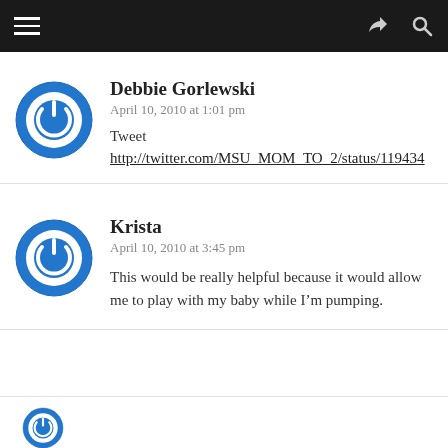Navigation bar with hamburger menu, share icon, and search icon
Debbie Gorlewski
April 10, 2010 at 1:01 pm
Tweet
http://twitter.com/MSU_MOM_TO_2/status/11943...
Krista
April 10, 2010 at 3:45 pm
This would be really helpful because it would allow me to play with my baby while I’m pumping.